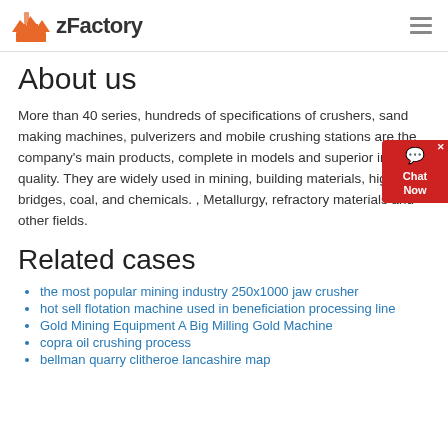zFactory
About us
More than 40 series, hundreds of specifications of crushers, sand making machines, pulverizers and mobile crushing stations are the company's main products, complete in models and superior in quality. They are widely used in mining, building materials, highways, bridges, coal, and chemicals. , Metallurgy, refractory materials and other fields.
Related cases
the most popular mining industry 250x1000 jaw crusher
hot sell flotation machine used in beneficiation processing line
Gold Mining Equipment A Big Milling Gold Machine
copra oil crushing process
bellman quarry clitheroe lancashire map